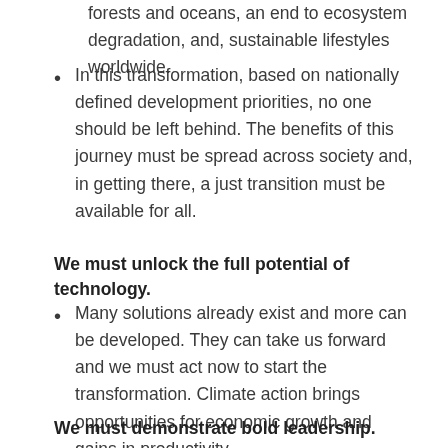forests and oceans, an end to ecosystem degradation, and, sustainable lifestyles worldwide.
In this transformation, based on nationally defined development priorities, no one should be left behind. The benefits of this journey must be spread across society and, in getting there, a just transition must be available for all.
We must unlock the full potential of technology.
Many solutions already exist and more can be developed. They can take us forward and we must act now to start the transformation. Climate action brings opportunities for economic growth and gains in productivity.
We must demonstrate bold leadership.